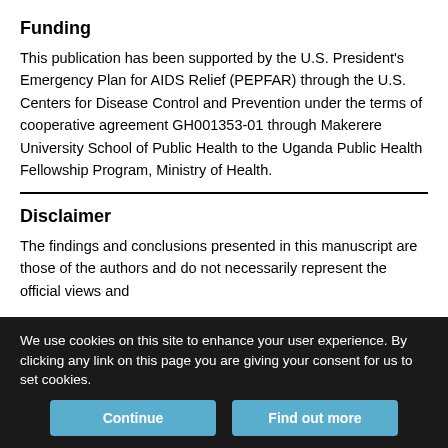Funding
This publication has been supported by the U.S. President's Emergency Plan for AIDS Relief (PEPFAR) through the U.S. Centers for Disease Control and Prevention under the terms of cooperative agreement GH001353-01 through Makerere University School of Public Health to the Uganda Public Health Fellowship Program, Ministry of Health.
Disclaimer
The findings and conclusions presented in this manuscript are those of the authors and do not necessarily represent the official views and
We use cookies on this site to enhance your user experience. By clicking any link on this page you are giving your consent for us to set cookies.